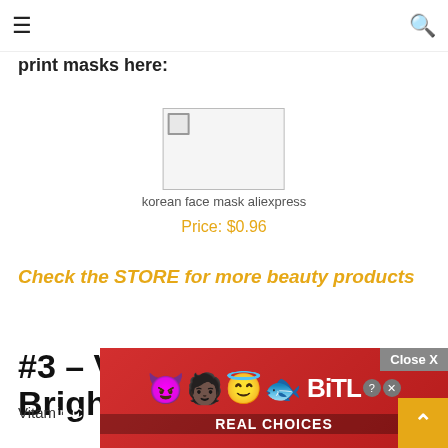≡  🔍
print masks here:
[Figure (photo): Korean face mask product image from AliExpress with alt text 'korean face mask aliexpress']
Price: $0.96
Check the STORE for more beauty products
#3 – Vitamin C for Brightness
Vitam…
[Figure (other): BitLife advertisement banner with emojis and 'REAL CHOICES' text, with Close X button]